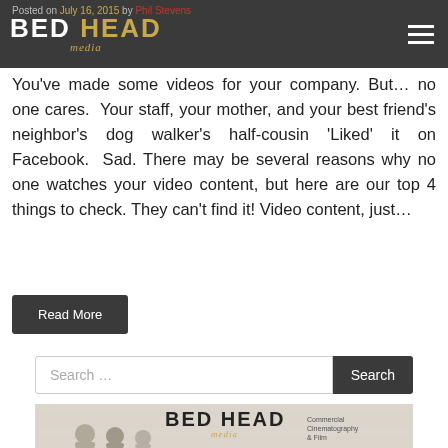BED HEAD media
Posted on July 16, 2015 by Phil Stevens
You've made some videos for your company. But… no one cares.  Your staff, your mother, and your best friend's neighbor's dog walker's half-cousin 'Liked' it on Facebook.  Sad. There may be several reasons why no one watches your video content, but here are our top 4 things to check. They can't find it! Video content, just…
Read More
Search …
[Figure (logo): Bed Head Media logo with commercial cinematography and film tagline, two people visible below]